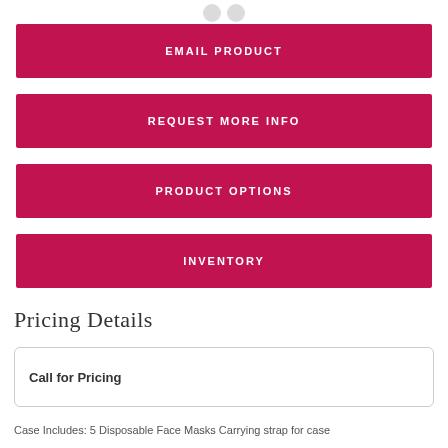EMAIL PRODUCT
REQUEST MORE INFO
PRODUCT OPTIONS
INVENTORY
Pricing Details
Call for Pricing
Case Includes: 5 Disposable Face Masks Carrying strap for case